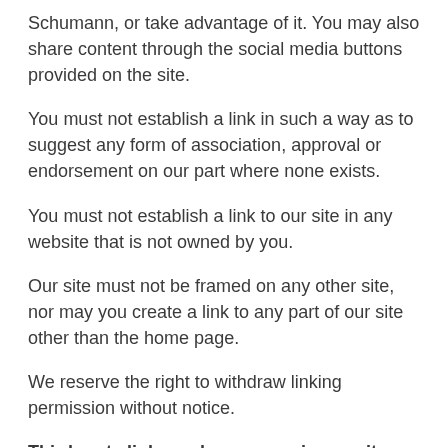Schumann, or take advantage of it. You may also share content through the social media buttons provided on the site.
You must not establish a link in such a way as to suggest any form of association, approval or endorsement on our part where none exists.
You must not establish a link to our site in any website that is not owned by you.
Our site must not be framed on any other site, nor may you create a link to any part of our site other than the home page.
We reserve the right to withdraw linking permission without notice.
Third party links and resources in our site
Where our site contains links to other sites and resources provided by third parties, these links